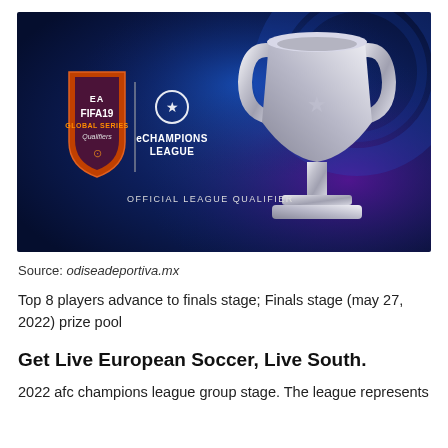[Figure (photo): FIFA 19 Global Series Qualifiers / eChampions League Official League Qualifier banner with Champions League trophy on a dark blue background]
Source: odiseadeportiva.mx
Top 8 players advance to finals stage; Finals stage (may 27, 2022) prize pool
Get Live European Soccer, Live South.
2022 afc champions league group stage. The league represents